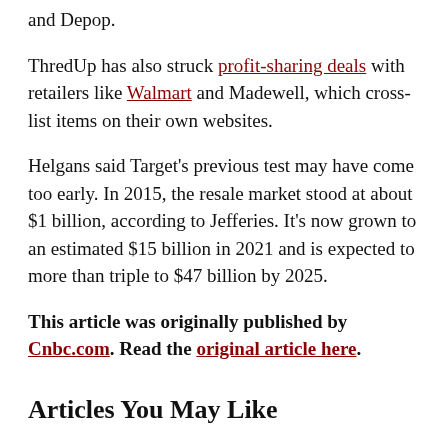and Depop.
ThredUp has also struck profit-sharing deals with retailers like Walmart and Madewell, which cross-list items on their own websites.
Helgans said Target's previous test may have come too early. In 2015, the resale market stood at about $1 billion, according to Jefferies. It's now grown to an estimated $15 billion in 2021 and is expected to more than triple to $47 billion by 2025.
This article was originally published by Cnbc.com. Read the original article here.
Articles You May Like